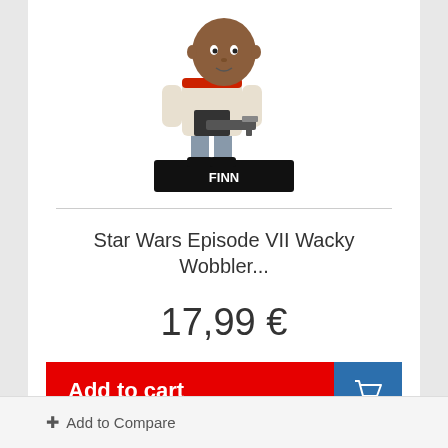[Figure (illustration): A Star Wars Finn bobblehead / Wacky Wobbler figurine on a black base with 'FINN' text]
Star Wars Episode VII Wacky Wobbler...
17,99 €
Add to cart
In Stock: 3 units
+ Add to Compare